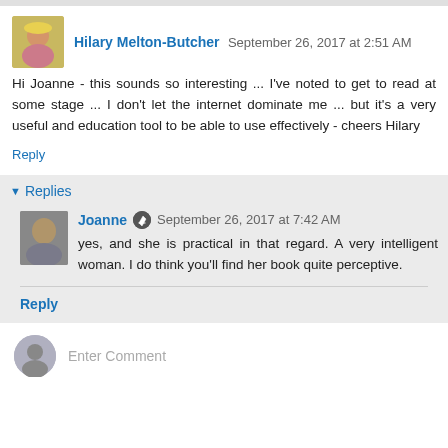Hilary Melton-Butcher  September 26, 2017 at 2:51 AM
Hi Joanne - this sounds so interesting ... I've noted to get to read at some stage ... I don't let the internet dominate me ... but it's a very useful and education tool to be able to use effectively - cheers Hilary
Reply
Replies
Joanne  September 26, 2017 at 7:42 AM
yes, and she is practical in that regard. A very intelligent woman. I do think you'll find her book quite perceptive.
Reply
Enter Comment